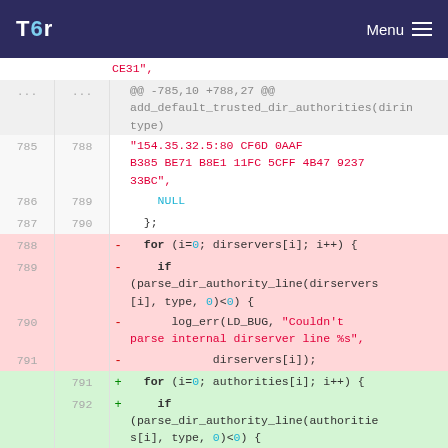Tor — Menu
Code diff showing changes to add_default_trusted_dir_authorities function. Removed lines (788-791) use dirservers array; added lines (791-792) use authorities array.